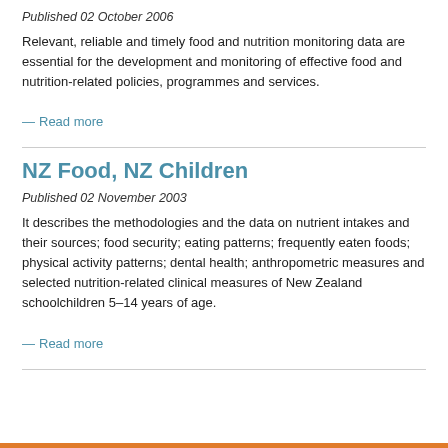Published 02 October 2006
Relevant, reliable and timely food and nutrition monitoring data are essential for the development and monitoring of effective food and nutrition-related policies, programmes and services.
— Read more
NZ Food, NZ Children
Published 02 November 2003
It describes the methodologies and the data on nutrient intakes and their sources; food security; eating patterns; frequently eaten foods; physical activity patterns; dental health; anthropometric measures and selected nutrition-related clinical measures of New Zealand schoolchildren 5–14 years of age.
— Read more